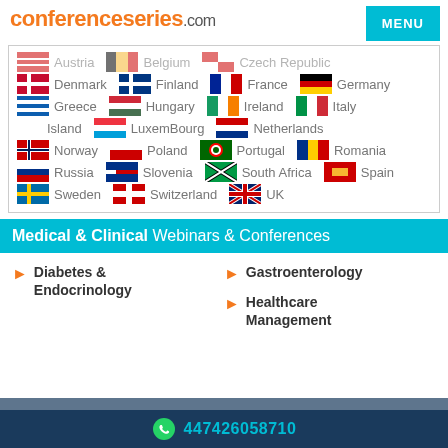conferenceseries.com
[Figure (screenshot): MENU button in teal]
Austria, Belgium, Czech Republic
Denmark, Finland, France, Germany
Greece, Hungary, Ireland, Italy
Island, LuxemBourg, Netherlands
Norway, Poland, Portugal, Romania
Russia, Slovenia, South Africa, Spain
Sweden, Switzerland, UK
Medical & Clinical Webinars & Conferences
Diabetes & Endocrinology
Gastroenterology
Healthcare Management
447426058710